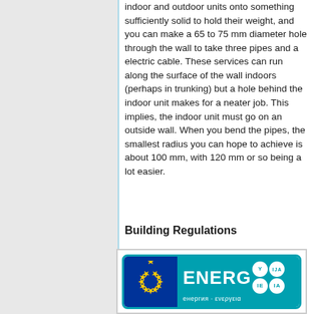indoor and outdoor units onto something sufficiently solid to hold their weight, and you can make a 65 to 75 mm diameter hole through the wall to take three pipes and a electric cable. These services can run along the surface of the wall indoors (perhaps in trunking) but a hole behind the indoor unit makes for a neater job. This implies, the indoor unit must go on an outside wall. When you bend the pipes, the smallest radius you can hope to achieve is about 100 mm, with 120 mm or so being a lot easier.
Building Regulations
[Figure (logo): EU Energy label logo showing European Union flag, ENERGY text in teal, with multilingual text 'енергия · ενεργεια' and circular badges with letters Y, IJA, IE, IA]